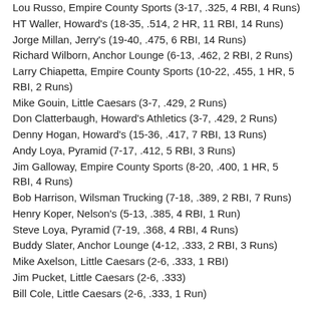Lou Russo, Empire County Sports (3-17, .325, 4 RBI, 4 Runs)
HT Waller, Howard's (18-35, .514, 2 HR, 11 RBI, 14 Runs)
Jorge Millan, Jerry's (19-40, .475, 6 RBI, 14 Runs)
Richard Wilborn, Anchor Lounge (6-13, .462, 2 RBI, 2 Runs)
Larry Chiapetta, Empire County Sports (10-22, .455, 1 HR, 5 RBI, 2 Runs)
Mike Gouin, Little Caesars (3-7, .429, 2 Runs)
Don Clatterbaugh, Howard's Athletics (3-7, .429, 2 Runs)
Denny Hogan, Howard's (15-36, .417, 7 RBI, 13 Runs)
Andy Loya, Pyramid (7-17, .412, 5 RBI, 3 Runs)
Jim Galloway, Empire County Sports (8-20, .400, 1 HR, 5 RBI, 4 Runs)
Bob Harrison, Wilsman Trucking (7-18, .389, 2 RBI, 7 Runs)
Henry Koper, Nelson's (5-13, .385, 4 RBI, 1 Run)
Steve Loya, Pyramid (7-19, .368, 4 RBI, 4 Runs)
Buddy Slater, Anchor Lounge (4-12, .333, 2 RBI, 3 Runs)
Mike Axelson, Little Caesars (2-6, .333, 1 RBI)
Jim Pucket, Little Caesars (2-6, .333)
Bill Cole, Little Caesars (2-6, .333, 1 Run)